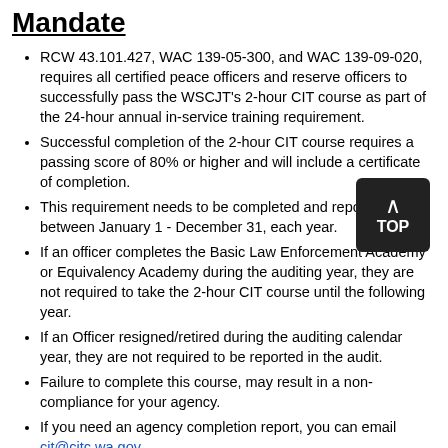Mandate
RCW 43.101.427, WAC 139-05-300, and WAC 139-09-020, requires all certified peace officers and reserve officers to successfully pass the WSCJT’s 2-hour CIT course as part of the 24-hour annual in-service training requirement.
Successful completion of the 2-hour CIT course requires a passing score of 80% or higher and will include a certificate of completion.
This requirement needs to be completed and reported between January 1 - December 31, each year.
If an officer completes the Basic Law Enforcement Academy or Equivalency Academy during the auditing year, they are not required to take the 2-hour CIT course until the following year.
If an Officer resigned/retired during the auditing calendar year, they are not required to be reported in the audit.
Failure to complete this course, may result in a non-compliance for your agency.
If you need an agency completion report, you can email cit@citc.wa.gov